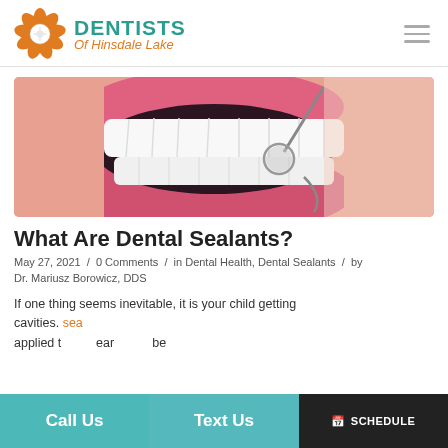DENTISTS Of Hinsdale Lake
[Figure (photo): Close-up photo of a person's open mouth showing white teeth, with a dental mirror/explorer tool being used by a dentist]
What Are Dental Sealants?
May 27, 2021 / 0 Comments / in Dental Health, Dental Sealants / by Dr. Mariusz Borowicz, DDS
If one thing seems inevitable, it is your child getting cavities. sea applied t ear be